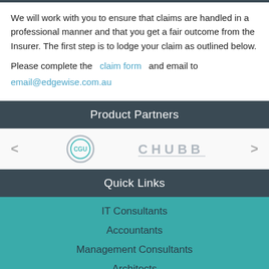We will work with you to ensure that claims are handled in a professional manner and that you get a fair outcome from the Insurer. The first step is to lodge your claim as outlined below.
Please complete the claim form and email to email@edgewise.com.au
Product Partners
[Figure (logo): CGU logo (circular, grey/teal) and Chubb logo (grey text) displayed as product partner logos with left and right navigation arrows]
Quick Links
IT Consultants
Accountants
Management Consultants
Architects
Tax & BAS Agents
SMSF Auditors
Bookeepers
Graphic Designers